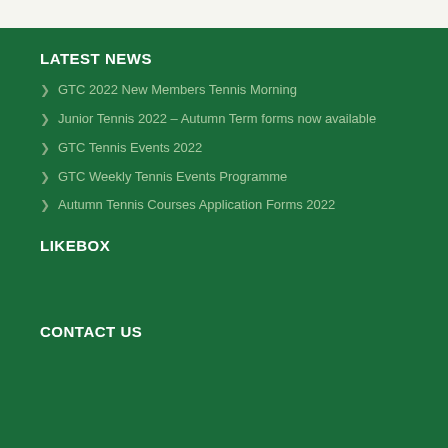LATEST NEWS
GTC 2022 New Members Tennis Morning
Junior Tennis 2022 – Autumn Term forms now available
GTC Tennis Events 2022
GTC Weekly Tennis Events Programme
Autumn Tennis Courses Application Forms 2022
LIKEBOX
CONTACT US